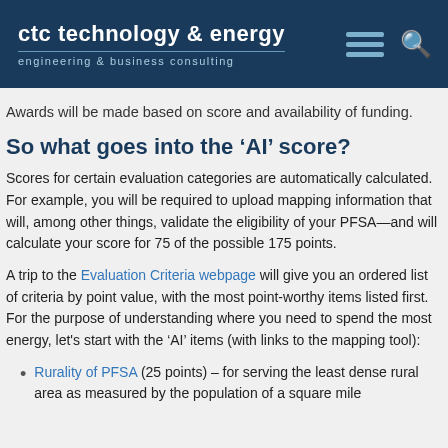ctc technology & energy | engineering & business consulting
Awards will be made based on score and availability of funding.
So what goes into the ‘AI’ score?
Scores for certain evaluation categories are automatically calculated. For example, you will be required to upload mapping information that will, among other things, validate the eligibility of your PFSA—and will calculate your score for 75 of the possible 175 points.
A trip to the Evaluation Criteria webpage will give you an ordered list of criteria by point value, with the most point-worthy items listed first. For the purpose of understanding where you need to spend the most energy, let’s start with the ‘AI’ items (with links to the mapping tool):
Rurality of PFSA (25 points) – for serving the least dense rural area as measured by the population of a square mile